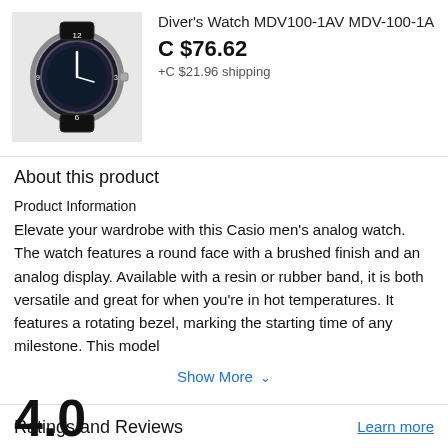[Figure (photo): Photo of a Casio diver's watch with black bezel and rubber band]
Diver's Watch MDV100-1AV MDV-100-1A
C $76.62
+C $21.96 shipping
About this product
Product Information
Elevate your wardrobe with this Casio men's analog watch. The watch features a round face with a brushed finish and an analog display. Available with a resin or rubber band, it is both versatile and great for when you're in hot temperatures. It features a rotating bezel, marking the starting time of any milestone. This model
Show More ∨
Ratings and Reviews
Learn more